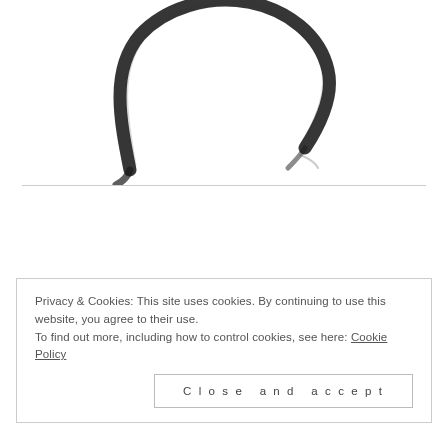[Figure (illustration): Partial view of a circular brushstroke logo or zen circle (enso), showing the top arc portion in black ink on white background]
Privacy & Cookies: This site uses cookies. By continuing to use this website, you agree to their use.
To find out more, including how to control cookies, see here: Cookie Policy
Close and accept